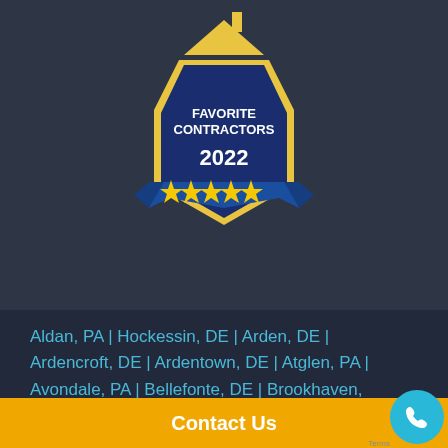[Figure (logo): Favorite Contractors 2022 badge — dark blue hexagon/shield shape with gold border, house icon on top, text 'FAVORITE CONTRACTORS 2022', and five gold stars on a blue ribbon banner]
Aldan, PA | Hockessin, DE | Arden, DE | Ardencroft, DE | Ardentown, DE | Atglen, PA | Avondale, PA | Bellefonte, DE | Brookhaven, | Ches... , PA | Clayto... esville,
Contact Us